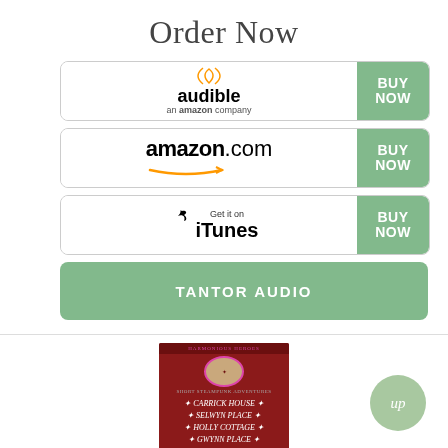Order Now
[Figure (logo): Audible (an amazon company) BUY NOW button]
[Figure (logo): amazon.com BUY NOW button]
[Figure (logo): Get it on iTunes BUY NOW button]
TANTOR AUDIO
[Figure (illustration): Book cover for 'Carrick House, Selwyn Place, Holly Cottage, Gwynn Place' short steampunk adventures by Shelley Adina, dark red cover]
up